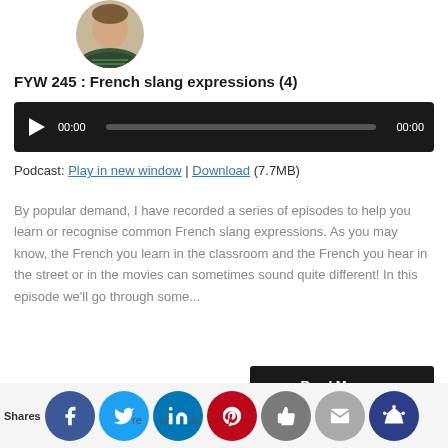[Figure (photo): Circular profile photo of a person]
FYW 245 : French slang expressions (4)
[Figure (other): Audio player widget with play button, progress bar, and time displays showing 00:00]
Podcast: Play in new window | Download (7.7MB)
By popular demand, I have recorded a series of episodes to help you learn or recognise common French slang expressions. As you may know, the French you learn in the classroom and the French you hear in the street or in the movies can sometimes sound quite different! In this episode we'll go through some...
Read More →
Shares